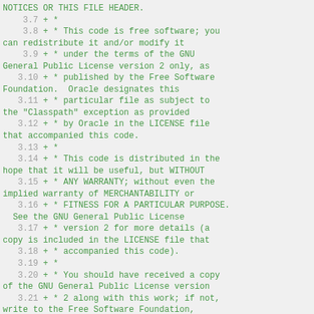NOTICES OR THIS FILE HEADER.
3.7 + *
3.8 + * This code is free software; you can redistribute it and/or modify it
3.9 + * under the terms of the GNU General Public License version 2 only, as
3.10 + * published by the Free Software Foundation.  Oracle designates this
3.11 + * particular file as subject to the "Classpath" exception as provided
3.12 + * by Oracle in the LICENSE file that accompanied this code.
3.13 + *
3.14 + * This code is distributed in the hope that it will be useful, but WITHOUT
3.15 + * ANY WARRANTY; without even the implied warranty of MERCHANTABILITY or
3.16 + * FITNESS FOR A PARTICULAR PURPOSE.  See the GNU General Public License
3.17 + * version 2 for more details (a copy is included in the LICENSE file that
3.18 + * accompanied this code).
3.19 + *
3.20 + * You should have received a copy of the GNU General Public License version
3.21 + * 2 along with this work; if not, write to the Free Software Foundation,